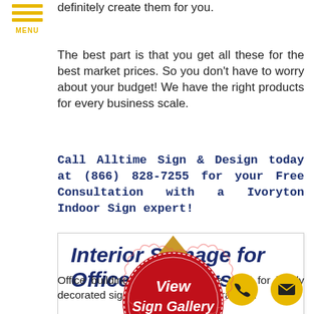MENU
definitely create them for you.
The best part is that you get all these for the best market prices. So you don't have to worry about your budget! We have the right products for every business scale.
Call Alltime Sign & Design today at (866) 828-7255 for your Free Consultation with a Ivoryton Indoor Sign expert!
[Figure (other): Interior Signage for Office Buildings promotional banner box with bold dark blue italic text]
[Figure (other): Red circular stamp/badge with gold ribbon saying 'View Sign Gallery - CLICK HERE']
Office buildings always have the need for highly decorated signs to boost their operations.
[Figure (other): Gold circular phone button icon]
[Figure (other): Gold circular email/envelope button icon]